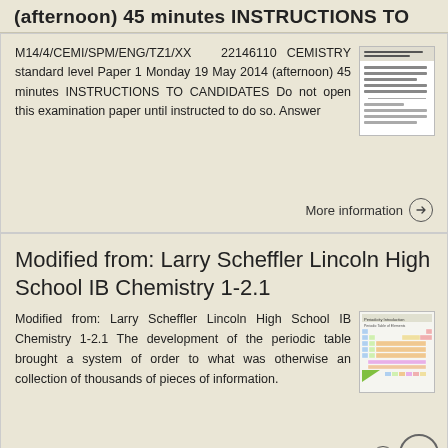(afternoon) 45 minutes INSTRUCTIONS TO
M14/4/CEMI/SPM/ENG/TZ1/XX 22146110 CEMISTRY standard level Paper 1 Monday 19 May 2014 (afternoon) 45 minutes INSTRUCTIONS TO CANDIDATES Do not open this examination paper until instructed to do so. Answer
[Figure (other): Thumbnail image of an exam paper document]
More information →
Modified from: Larry Scheffler Lincoln High School IB Chemistry 1-2.1
Modified from: Larry Scheffler Lincoln High School IB Chemistry 1-2.1 The development of the periodic table brought a system of order to what was otherwise an collection of thousands of pieces of information.
[Figure (other): Thumbnail image of a periodic table of elements]
More information →